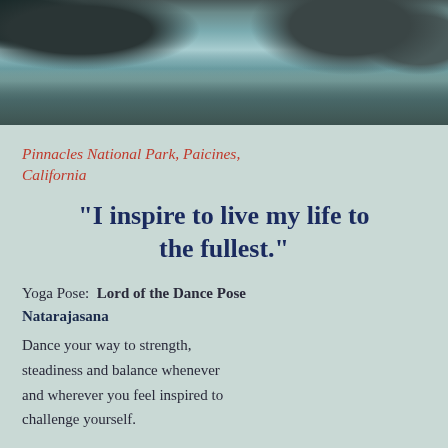[Figure (photo): Landscape photo of Pinnacles National Park showing a rocky lake with reflections of boulders and sky]
Pinnacles National Park, Paicines, California
"I inspire to live my life to the fullest."
Yoga Pose:  Lord of the Dance Pose Natarajasana
Dance your way to strength, steadiness and balance whenever and wherever you feel inspired to challenge yourself.